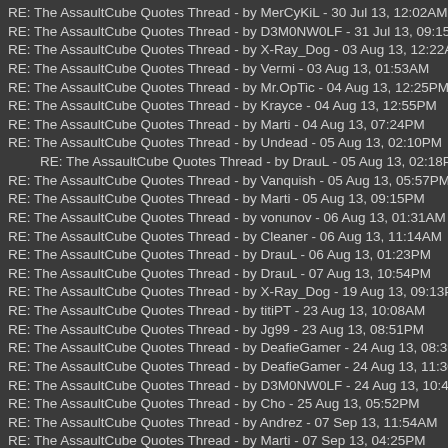RE: The AssaultCube Quotes Thread - by MerCyKiL - 30 Jul 13, 12:02AM
RE: The AssaultCube Quotes Thread - by D3M0NW0LF - 31 Jul 13, 09:15AM
RE: The AssaultCube Quotes Thread - by X-Ray_Dog - 03 Aug 13, 12:22AM
RE: The AssaultCube Quotes Thread - by Vermi - 03 Aug 13, 01:53AM
RE: The AssaultCube Quotes Thread - by Mr.OpTic - 04 Aug 13, 12:25PM
RE: The AssaultCube Quotes Thread - by Krayce - 04 Aug 13, 12:55PM
RE: The AssaultCube Quotes Thread - by Marti - 04 Aug 13, 07:24PM
RE: The AssaultCube Quotes Thread - by Undead - 05 Aug 13, 02:10PM
RE: The AssaultCube Quotes Thread - by DrauL - 05 Aug 13, 02:18PM
RE: The AssaultCube Quotes Thread - by Vanquish - 05 Aug 13, 05:57PM
RE: The AssaultCube Quotes Thread - by Marti - 05 Aug 13, 09:15PM
RE: The AssaultCube Quotes Thread - by vonunov - 06 Aug 13, 01:31AM
RE: The AssaultCube Quotes Thread - by Cleaner - 06 Aug 13, 11:14AM
RE: The AssaultCube Quotes Thread - by DrauL - 06 Aug 13, 01:23PM
RE: The AssaultCube Quotes Thread - by DrauL - 07 Aug 13, 10:54PM
RE: The AssaultCube Quotes Thread - by X-Ray_Dog - 19 Aug 13, 09:13PM
RE: The AssaultCube Quotes Thread - by titiPT - 23 Aug 13, 10:08AM
RE: The AssaultCube Quotes Thread - by Jg99 - 23 Aug 13, 08:51PM
RE: The AssaultCube Quotes Thread - by DeafieGamer - 24 Aug 13, 08:39AM
RE: The AssaultCube Quotes Thread - by DeafieGamer - 24 Aug 13, 11:30AM
RE: The AssaultCube Quotes Thread - by D3M0NW0LF - 24 Aug 13, 10:40PM
RE: The AssaultCube Quotes Thread - by Cho - 25 Aug 13, 05:52PM
RE: The AssaultCube Quotes Thread - by Andrez - 07 Sep 13, 11:54AM
RE: The AssaultCube Quotes Thread - by Marti - 07 Sep 13, 04:25PM
RE: The AssaultCube Quotes Thread - by Vanquish - 08 Sep 13, 11:18AM